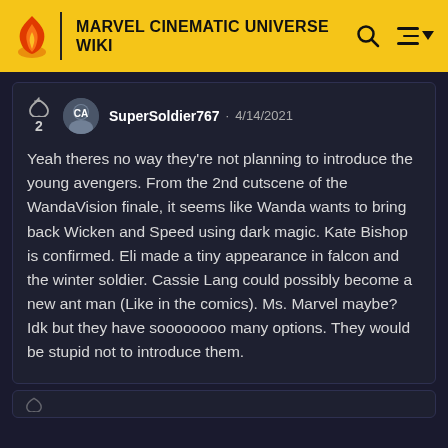MARVEL CINEMATIC UNIVERSE WIKI
SuperSoldier767 · 4/14/2021

Yeah theres no way they're not planning to introduce the young avengers. From the 2nd cutscene of the WandaVision finale, it seems like Wanda wants to bring back Wicken and Speed using dark magic. Kate Bishop is confirmed. Eli made a tiny appearance in falcon and the winter soldier. Cassie Lang could possibly become a new ant man (Like in the comics). Ms. Marvel maybe? Idk but they have soooooooo many options. They would be stupid not to introduce them.